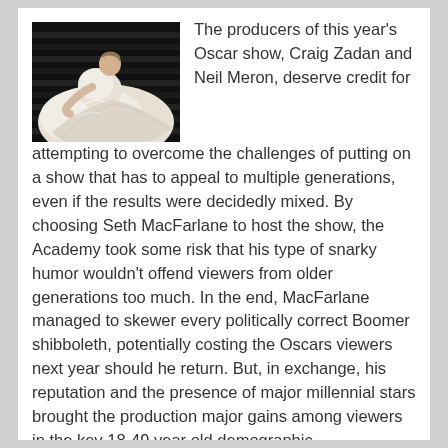[Figure (photo): A person in a white ball gown dress leaning forward on a dark staircase or railing, photographed from the side.]
The producers of this year's Oscar show, Craig Zadan and Neil Meron, deserve credit for attempting to overcome the challenges of putting on a show that has to appeal to multiple generations, even if the results were decidedly mixed. By choosing Seth MacFarlane to host the show, the Academy took some risk that his type of snarky humor wouldn't offend viewers from older generations too much. In the end, MacFarlane managed to skewer every politically correct Boomer shibboleth, potentially costing the Oscars viewers next year should he return. But, in exchange, his reputation and the presence of major millennial stars brought the production major gains among viewers in the key 18-49 year old demographic.
Seth MacFarlane's sense of humor is grounded in his Generation X sensibilities. Left to fend for themselves